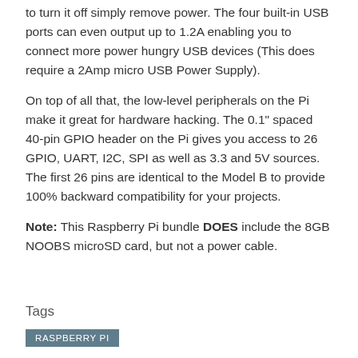…button so the Pi will begin to boot as soon as power is applied, to turn it off simply remove power. The four built-in USB ports can even output up to 1.2A enabling you to connect more power hungry USB devices (This does require a 2Amp micro USB Power Supply).
On top of all that, the low-level peripherals on the Pi make it great for hardware hacking. The 0.1" spaced 40-pin GPIO header on the Pi gives you access to 26 GPIO, UART, I2C, SPI as well as 3.3 and 5V sources. The first 26 pins are identical to the Model B to provide 100% backward compatibility for your projects.
Note: This Raspberry Pi bundle DOES include the 8GB NOOBS microSD card, but not a power cable.
Tags
RASPBERRY PI
Hookup Accessories for Raspberry Pi - Model B+ (8GB Bundle)